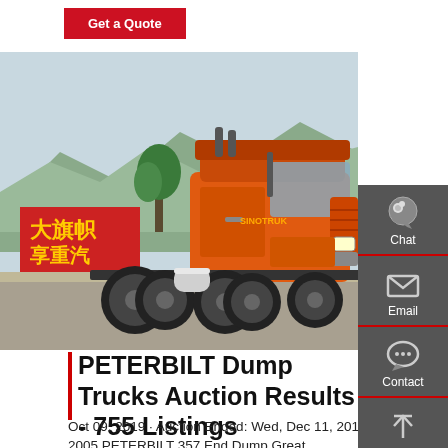[Figure (other): Red button/badge labeled 'Get a Quote' on white background]
[Figure (photo): Orange SINOTRUK HOWO heavy-duty truck/tractor unit parked outdoors. Chinese red banner with characters visible in background along with trees and mountains. Truck is orange with black accents, showing dual rear axles.]
[Figure (infographic): Dark grey sidebar with three icon buttons: Chat (headset icon), Email (envelope icon), Contact (speech bubble with dots icon), and Top (upward arrow icon). Each separated by red divider lines.]
PETERBILT Dump Trucks Auction Results - 755 Listings
Oct 09, 2019 · Auction Ended: Wed, Dec 11, 2019 11:15 AM. 2005 PETERBILT 357 End Dump Great